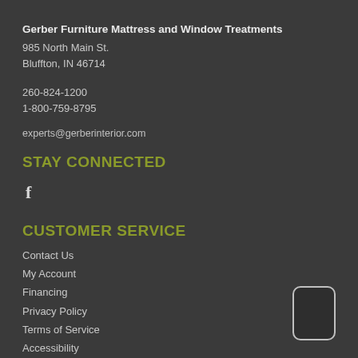Gerber Furniture Mattress and Window Treatments
985 North Main St.
Bluffton, IN 46714
260-824-1200
1-800-759-8795
experts@gerberinterior.com
STAY CONNECTED
f
CUSTOMER SERVICE
Contact Us
My Account
Financing
Privacy Policy
Terms of Service
Accessibility
Site Map
Do Not Sell My Personal Information
[Figure (illustration): Mobile phone icon outline — rounded rectangle shape representing a smartphone]